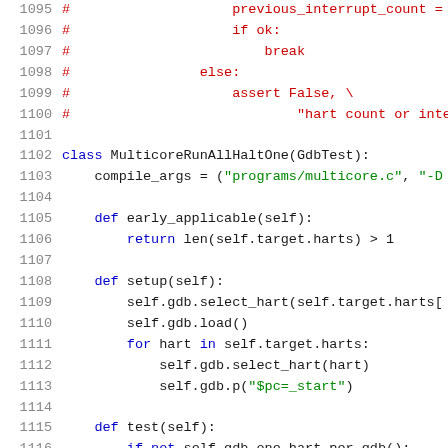Source code listing lines 1095-1116, Python code for GDB test multicore functionality